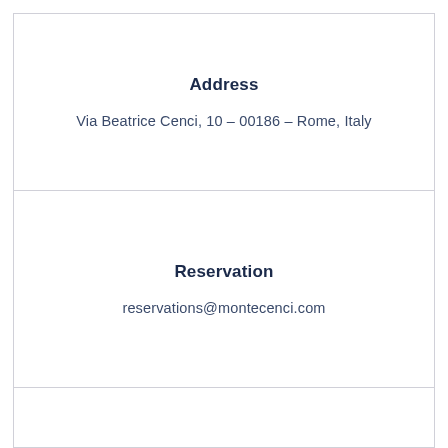Address
Via Beatrice Cenci, 10 – 00186 – Rome, Italy
Reservation
reservations@montecenci.com
Call us
+39 06 94538 750